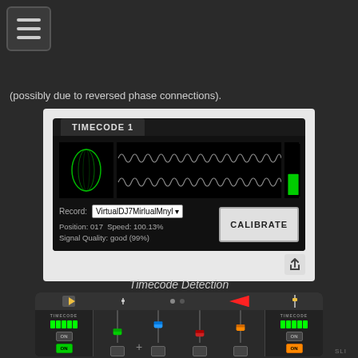[Figure (screenshot): Hamburger menu icon button in top-left corner]
(possibly due to reversed phase connections).
[Figure (screenshot): Timecode 1 panel showing lissajous figure, waveform display, level meter, Record dropdown set to VirtualDJ7MirlualMnyl, Position: 017, Speed: 100.13%, Signal Quality: good (99%), and CALIBRATE button]
Timecode Detection
[Figure (screenshot): DJ mixer interface showing Timecode Detection with two TIMECODE ON sections on left and right, faders in center (green, blue, red, orange), headphone buttons at bottom, and navigation dots at top]